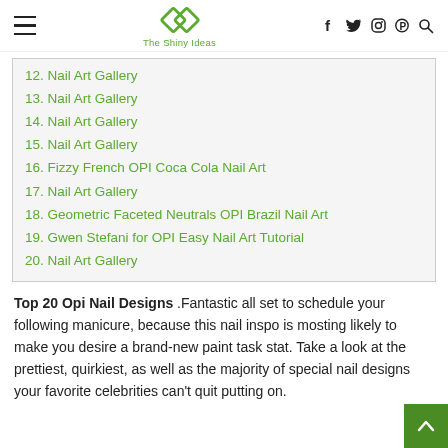The Shiny Ideas
12. Nail Art Gallery
13. Nail Art Gallery
14. Nail Art Gallery
15. Nail Art Gallery
16. Fizzy French OPI Coca Cola Nail Art
17. Nail Art Gallery
18. Geometric Faceted Neutrals OPI Brazil Nail Art
19. Gwen Stefani for OPI Easy Nail Art Tutorial
20. Nail Art Gallery
Top 20 Opi Nail Designs .Fantastic all set to schedule your following manicure, because this nail inspo is mosting likely to make you desire a brand-new paint task stat. Take a look at the prettiest, quirkiest, as well as the majority of special nail designs your favorite celebrities can't quit putting on.